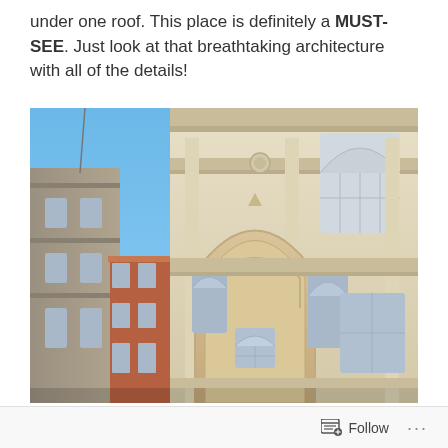under one roof. This place is definitely a MUST-SEE. Just look at that breathtaking architecture with all of the details!
[Figure (photo): Photograph taken from a low angle looking up at a grand neoclassical building facade with ornate stonework, arched windows, decorative cornices, and a large central archway. Blue sky visible in the background and upper left.]
Follow ...